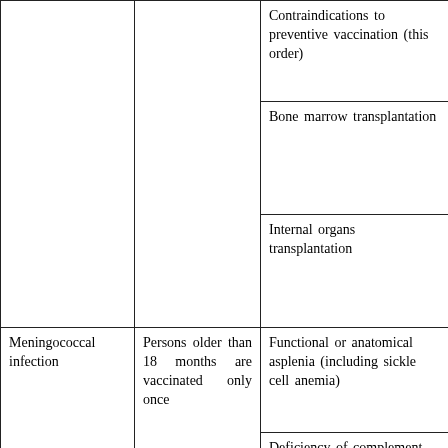| Disease | Vaccination schedule | Indications / Contraindications |
| --- | --- | --- |
|  |  | Contraindications to preventive vaccination (this order) |
|  |  | Bone marrow transplantation |
|  |  | Internal organs transplantation |
| Meningococcal infection | Persons older than 18 months are vaccinated only once | Functional or anatomical asplenia (including sickle cell anemia) |
|  |  | Deficiency of complement system (early proteins - C1, C4, C2, C3, C5-C9 ), properdin, B factor |